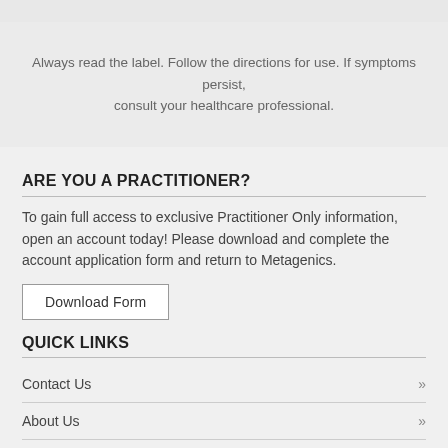Always read the label. Follow the directions for use. If symptoms persist, consult your healthcare professional.
ARE YOU A PRACTITIONER?
To gain full access to exclusive Practitioner Only information, open an account today! Please download and complete the account application form and return to Metagenics.
Download Form
QUICK LINKS
Contact Us
About Us